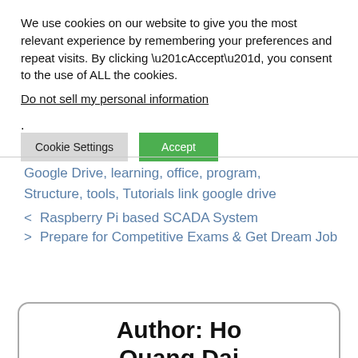We use cookies on our website to give you the most relevant experience by remembering your preferences and repeat visits. By clicking “Accept”, you consent to the use of ALL the cookies.
Do not sell my personal information.
Cookie Settings   Accept
Google Drive, learning, office, program, Structure, tools, Tutorials link google drive
< Raspberry Pi based SCADA System
> Prepare for Competitive Exams & Get Dream Job
Author: Ho Quang Dai